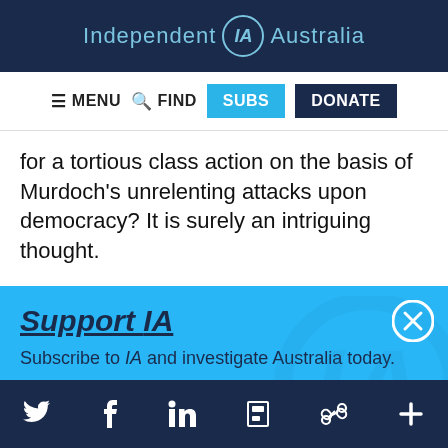Independent IA Australia
≡ MENU  🔍 FIND  SUBS  DONATE
for a tortious class action on the basis of Murdoch's unrelenting attacks upon democracy? It is surely an intriguing thought.
Support IA
Subscribe to IA and investigate Australia today.
Close  Subscribe  Donate
Twitter  Facebook  LinkedIn  Flipboard  Share  More